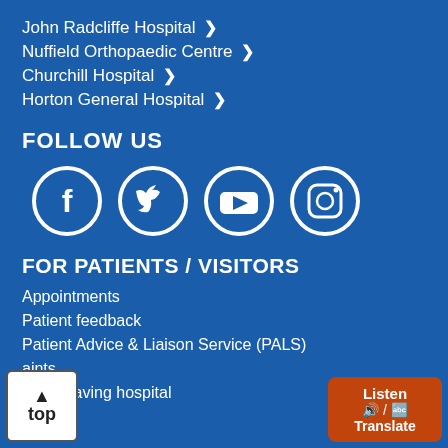John Radcliffe Hospital >
Nuffield Orthopaedic Centre >
Churchill Hospital >
Horton General Hospital >
FOLLOW US
[Figure (illustration): Four white circular social media icons on blue background: Facebook, Twitter, YouTube, Instagram]
FOR PATIENTS / VISITORS
Appointments
Patient feedback
Patient Advice & Liaison Service (PALS)
aints
g in / leaving hospital